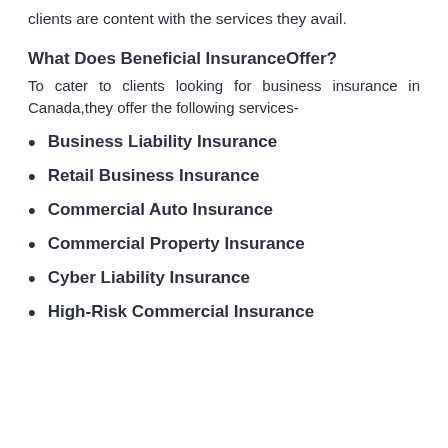clients are content with the services they avail.
What Does Beneficial InsuranceOffer?
To cater to clients looking for business insurance in Canada,they offer the following services-
Business Liability Insurance
Retail Business Insurance
Commercial Auto Insurance
Commercial Property Insurance
Cyber Liability Insurance
High-Risk Commercial Insurance